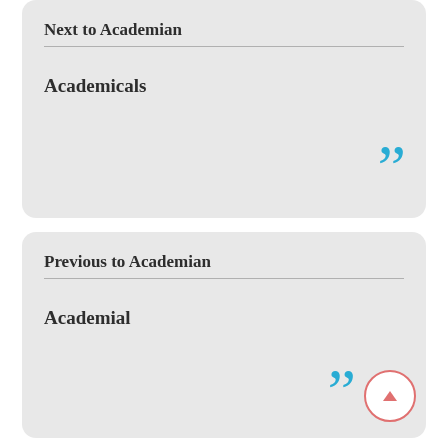Next to Academian
Academicals
Previous to Academian
Academial